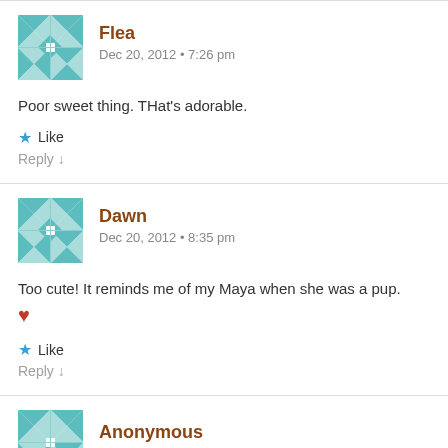[Figure (illustration): Teal quilt-pattern avatar for user Flea]
Flea
Dec 20, 2012 • 7:26 pm
Poor sweet thing. THat's adorable.
★ Like
Reply ↓
[Figure (illustration): Teal quilt-pattern avatar for user Dawn]
Dawn
Dec 20, 2012 • 8:35 pm
Too cute! It reminds me of my Maya when she was a pup. ❤
★ Like
Reply ↓
[Figure (illustration): Teal quilt-pattern avatar for user Anonymous (partially visible)]
Anonymous